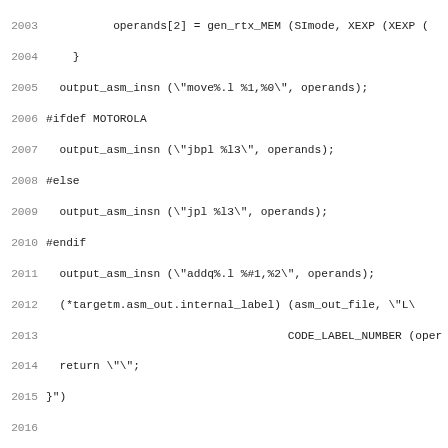Code listing lines 2003-2034 showing C/RTL assembly generation code for m68k target including define_expand 'addsi3' and define_insn '*addsi3_internal'